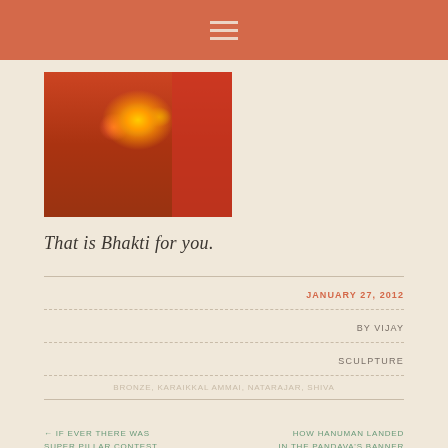Navigation menu header bar
[Figure (photo): A person wearing a flower crown and orange/pink draping, holding cymbals or small instruments, against a red background — devotional/bhakti scene]
That is Bhakti for you.
JANUARY 27, 2012
BY VIJAY
SCULPTURE
BRONZE, KARAIKKAL AMMAI, NATARAJAR, SHIVA
← IF EVER THERE WAS SUPER PILLAR CONTEST
HOW HANUMAN LANDED IN THE PANDAVA'S BANNER →